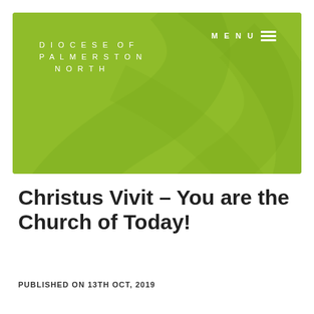[Figure (illustration): Green header banner with Diocese of Palmerston North text in white on the left, and a MENU icon with three horizontal lines on the top right. The background features decorative leaf/swirl shapes in a slightly darker green.]
Christus Vivit – You are the Church of Today!
PUBLISHED ON 13TH OCT, 2019